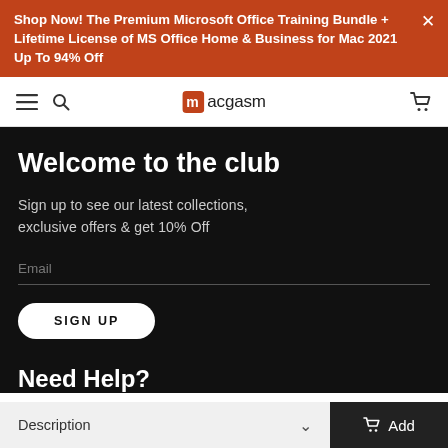Shop Now! The Premium Microsoft Office Training Bundle + Lifetime License of MS Office Home & Business for Mac 2021 Up To 94% Off
[Figure (screenshot): Macgasm website navigation bar with hamburger menu, search icon, macgasm logo, and cart icon]
Welcome to the club
Sign up to see our latest collections, exclusive offers & get 10% Off
Email
SIGNUP
Need Help?
Description
Add